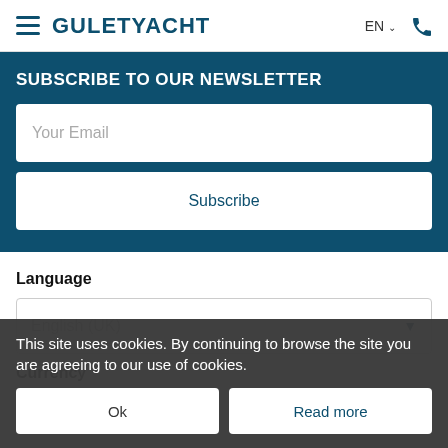GULETYACHT  EN  [phone icon]
SUBSCRIBE TO OUR NEWSLETTER
Your Email
Subscribe
Language
English (UK)
Currency
€ EUR
This site uses cookies. By continuing to browse the site you are agreeing to our use of cookies.
Ok
Read more